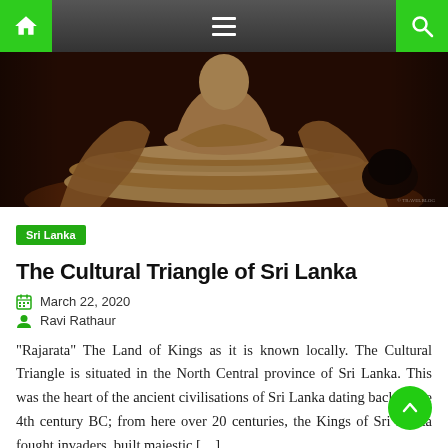Navigation bar with home, menu, and search icons
[Figure (photo): Hero image showing ancient stone Buddhist statue on a circular carved stone pedestal, warm brown/orange tones, Rajarata cultural heritage site in Sri Lanka]
Sri Lanka
The Cultural Triangle of Sri Lanka
March 22, 2020
Ravi Rathaur
“Rajarata” The Land of Kings as it is known locally. The Cultural Triangle is situated in the North Central province of Sri Lanka. This was the heart of the ancient civilisations of Sri Lanka dating back to the 4th century BC; from here over 20 centuries, the Kings of Sri Lanka fought invaders, built majestic […]